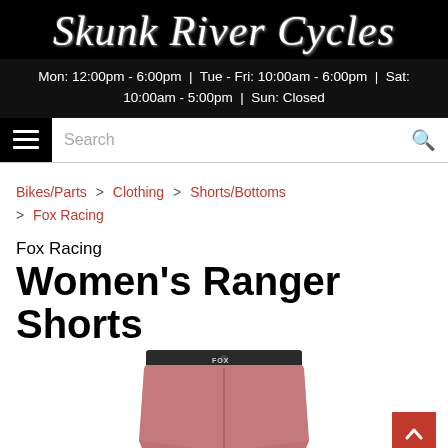Skunk River Cycles
Mon: 12:00pm - 6:00pm | Tue - Fri: 10:00am - 6:00pm | Sat: 10:00am - 5:00pm | Sun: Closed
Search
Bikes/Parts > Clothing > Shorts/Bottoms > Fox Racing
Fox Racing Women's Ranger Shorts
[Figure (photo): Partial view of women's pink/mauve mountain bike shorts (Fox Racing Women's Ranger Shorts) with black waistband, showing top portion of the shorts with a button closure.]